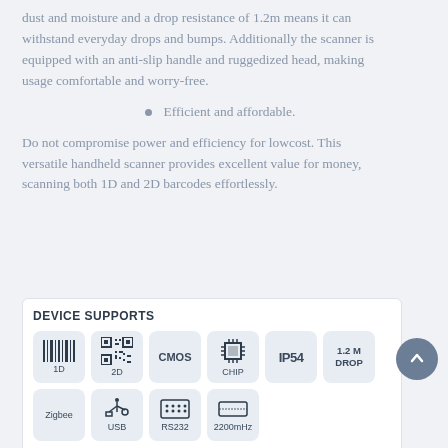dust and moisture and a drop resistance of 1.2m means it can withstand everyday drops and bumps. Additionally the scanner is equipped with an anti-slip handle and ruggedized head, making usage comfortable and worry-free.
Efficient and affordable.
Do not compromise power and efficiency for lowcost. This versatile handheld scanner provides excellent value for money, scanning both 1D and 2D barcodes effortlessly.
[Figure (infographic): Device Supports panel showing icons for: 1D barcode, 2D QR code, CMOS, CHIP, IP54, 1.2M DROP, Zigbee, USB, RS232, 2200mHz]